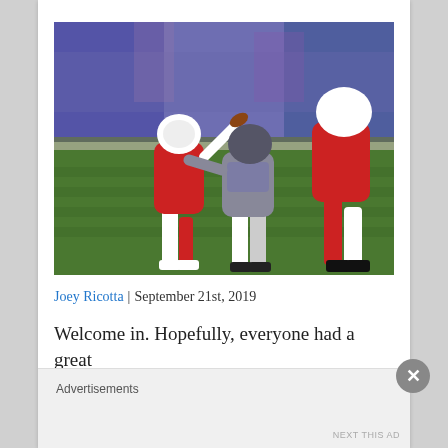[Figure (photo): Arizona Cardinals quarterback wearing #1 red jersey throwing a pass during an NFL game, being pressured by a Baltimore Ravens defender (#58 Judon) in purple uniform, with another Cardinals player in red in the foreground, crowd visible in the background stands.]
Joey Ricotta | September 21st, 2019
Welcome in. Hopefully, everyone had a great
Advertisements